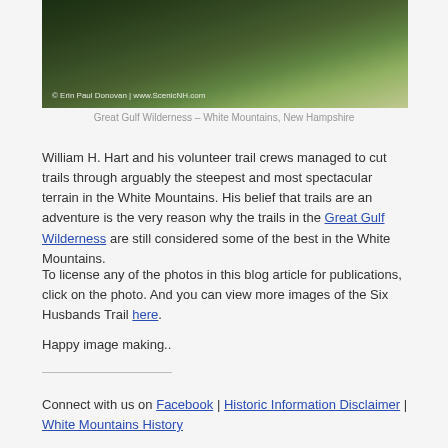[Figure (photo): Aerial/landscape photo of Great Gulf Wilderness, White Mountains, New Hampshire showing steep green forested mountain terrain. Photo credit: © Erin Paul Donovan | www.ScenicNH.com]
Great Gulf Wilderness – White Mountains, New Hampshire
William H. Hart and his volunteer trail crews managed to cut trails through arguably the steepest and most spectacular terrain in the White Mountains. His belief that trails are an adventure is the very reason why the trails in the Great Gulf Wilderness are still considered some of the best in the White Mountains.
To license any of the photos in this blog article for publications, click on the photo. And you can view more images of the Six Husbands Trail here.
Happy image making..
Connect with us on Facebook | Historic Information Disclaimer | White Mountains History